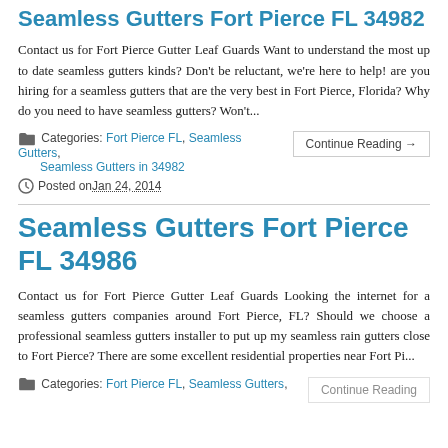Seamless Gutters Fort Pierce FL 34982
Contact us for Fort Pierce Gutter Leaf Guards Want to understand the most up to date seamless gutters kinds? Don't be reluctant, we're here to help! are you hiring for a seamless gutters that are the very best in Fort Pierce, Florida? Why do you need to have seamless gutters? Won't...
Categories: Fort Pierce FL, Seamless Gutters, Seamless Gutters in 34982
Posted on Jan 24, 2014
Seamless Gutters Fort Pierce FL 34986
Contact us for Fort Pierce Gutter Leaf Guards Looking the internet for a seamless gutters companies around Fort Pierce, FL? Should we choose a professional seamless gutters installer to put up my seamless rain gutters close to Fort Pierce? There are some excellent residential properties near Fort Pi...
Categories: Fort Pierce FL, Seamless Gutters,